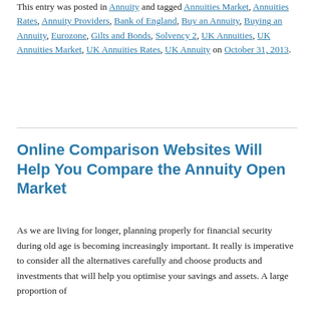This entry was posted in Annuity and tagged Annuities Market, Annuities Rates, Annuity Providers, Bank of England, Buy an Annuity, Buying an Annuity, Eurozone, Gilts and Bonds, Solvency 2, UK Annuities, UK Annuities Market, UK Annuities Rates, UK Annuity on October 31, 2013.
Online Comparison Websites Will Help You Compare the Annuity Open Market
As we are living for longer, planning properly for financial security during old age is becoming increasingly important. It really is imperative to consider all the alternatives carefully and choose products and investments that will help you optimise your savings and assets. A large proportion of